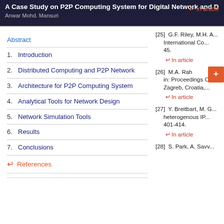A Case Study on P2P Computing System for Digital Network and Diffe... | Anwar Mohd. Mansuri
Abstract
1. Introduction
2. Distributed Computing and P2P Network
3. Architecture for P2P Computing System
4. Analytical Tools for Network Design
5. Network Simulation Tools
6. Results
7. Conclusions
References
[25] G.F. Riley, M.H. A... International Co... 45.
In article
[26] M.A. Rah... in: Proceedings C... Zagreb, Croatia,...
In article
[27] Y. Breitbart, M. G... heterogenous IP... 401-414.
In article
[28] S. Park, A. Savv...